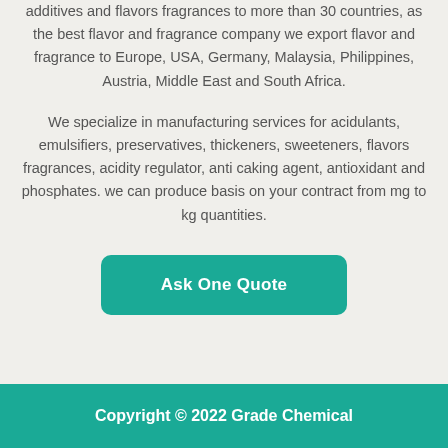additives and flavors fragrances to more than 30 countries, as the best flavor and fragrance company we export flavor and fragrance to Europe, USA, Germany, Malaysia, Philippines, Austria, Middle East and South Africa.
We specialize in manufacturing services for acidulants, emulsifiers, preservatives, thickeners, sweeteners, flavors fragrances, acidity regulator, anti caking agent, antioxidant and phosphates. we can produce basis on your contract from mg to kg quantities.
Ask One Quote
Copyright © 2022 Grade Chemical